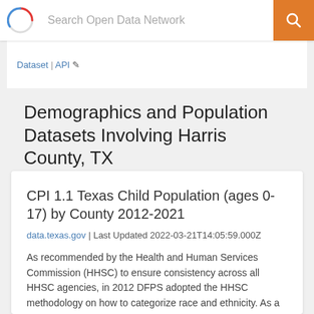Search Open Data Network
Dataset | API
Demographics and Population Datasets Involving Harris County, TX
CPI 1.1 Texas Child Population (ages 0-17) by County 2012-2021
data.texas.gov | Last Updated 2022-03-21T14:05:59.000Z
As recommended by the Health and Human Services Commission (HHSC) to ensure consistency across all HHSC agencies, in 2012 DFPS adopted the HHSC methodology on how to categorize race and ethnicity. As a result, data